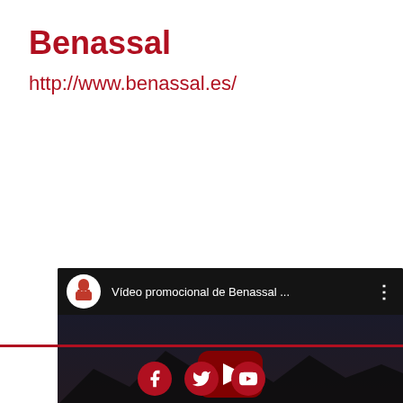Benassal
http://www.benassal.es/
[Figure (screenshot): YouTube video thumbnail for 'Vídeo promocional de Benassal ...' showing an aerial night/dusk view of Benassal town with a YouTube play button in the center and a channel icon with a figure. The word 'Benassal' appears as a watermark at the bottom of the video.]
Social media icons: Facebook, Twitter, YouTube